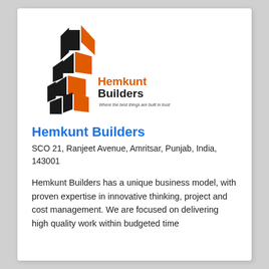[Figure (logo): Hemkunt Builders logo with stylized black and orange building/chevron shapes and company name text]
Hemkunt Builders
SCO 21, Ranjeet Avenue, Amritsar, Punjab, India, 143001
Hemkunt Builders has a unique business model, with proven expertise in innovative thinking, project and cost management. We are focused on delivering high quality work within budgeted time